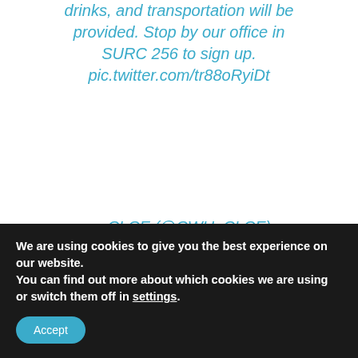drinks, and transportation will be provided. Stop by our office in SURC 256 to sign up. pic.twitter.com/tr88oRyiDt
— CLCE (@CWU_CLCE) October 24, 2018
Casino Classic concluded on October 26, 2018, introducing volunteers and participants to a series of stimulating and challenging games that entailed a good level of skill and a fair bit of chance. Though the choice of casino games may appear strange to the casual observer, CWU believes that diversity is
We are using cookies to give you the best experience on our website.
You can find out more about which cookies we are using or switch them off in settings.
Accept